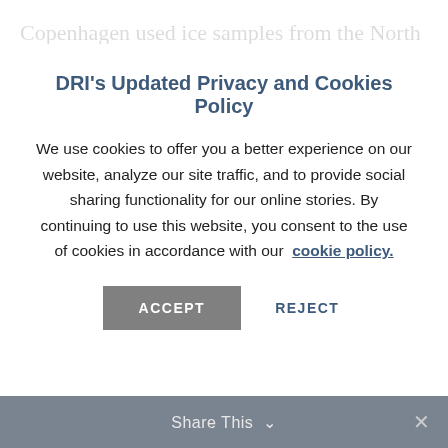Copenhagen used ice samples from the North Greenland Ice Core Project (NGRIP) to measure, date and analyze European lead emissions that were captured in Greenland ice between 1100 BC and AD 800. Their results
DRI's Updated Privacy and Cookies Policy
We use cookies to offer you a better experience on our website, analyze our site traffic, and to provide social sharing functionality for our online stories. By continuing to use this website, you consent to the use of cookies in accordance with our cookie policy.
ACCEPT   REJECT
Share This ∨  ✕